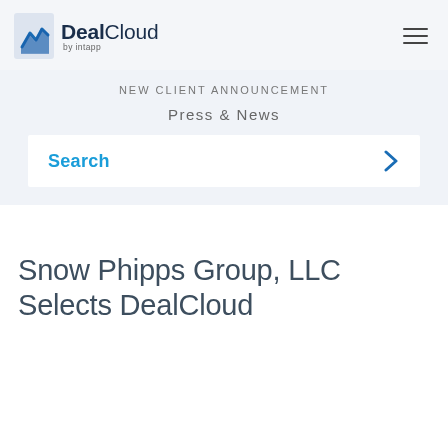DealCloud by intapp
New Client Announcement
Press & News
Search
Snow Phipps Group, LLC Selects DealCloud